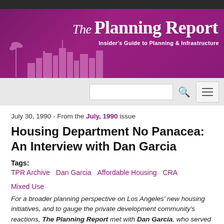[Figure (logo): The Planning Report banner with purple background, city skyline silhouette, and subtitle 'Insider's Guide to Planning & Infrastructure']
July 30, 1990 - From the July, 1990 issue
Housing Department No Panacea: An Interview with Dan Garcia
Tags:
TPR Archive   Dan Garcia   Affordable Housing   CRA   Mixed Use
For a broader planning perspective on Los Angeles' new housing initiatives, and to gauge the private development community's reactions, The Planning Report met with Dan Garcia, who served 12 years on the Los Angeles Planning Commission, including ten as the Commission's President. He is now a partner in the law firm of Munger, Tolles, and Olson, where he represents both for-profit and non-profit developers.